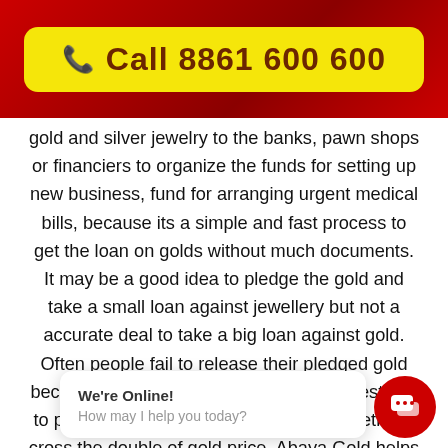Call 8861 600 600
gold and silver jewelry to the banks, pawn shops or financiers to organize the funds for setting up new business, fund for arranging urgent medical bills, because its a simple and fast process to get the loan on golds without much documents. It may be a good idea to pledge the gold and take a small loan against jewellery but not a accurate deal to take a big loan against gold. Often people fail to release their pledged gold because of immense interest rates and destined to pay pointless interest rates which sometimes cross the double of gold price. Abaya Gold helps the customer to release their gold loan and other jewelry from banks, pawn shops, financiers and buy back the gold at b...
We're Online!
How may I help you today?